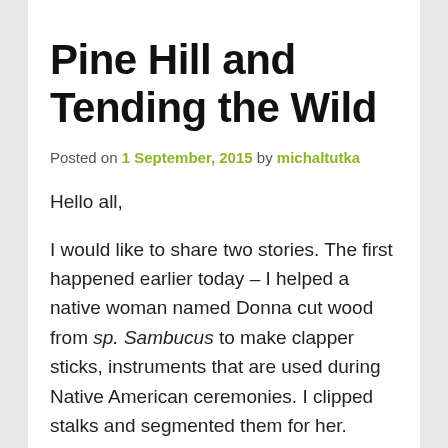Pine Hill and Tending the Wild
Posted on 1 September, 2015 by michaltutka
Hello all,
I would like to share two stories. The first happened earlier today – I helped a native woman named Donna cut wood from sp. Sambucus to make clapper sticks, instruments that are used during Native American ceremonies. I clipped stalks and segmented them for her. Apropos of my previous posts where I wrote about the cultural resources that nature provides. In return, human land use affects how the natural resources are replenished. In writing a few plant guides here at the PMC, I have been fortunate enough to come across the book Tending the Wild by M. Kat Anderson. In it, Kat talks about indigenous land